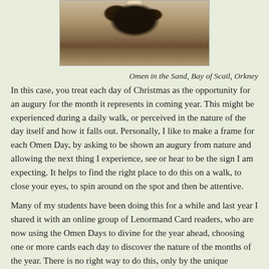[Figure (photo): Close-up photo of an animal face (likely a dog or seal) in sand, cropped showing nose and eyes area]
Omen in the Sand, Bay of Scail, Orkney
In this case, you treat each day of Christmas as the opportunity for an augury for the month it represents in coming year.  This might be experienced during a daily walk, or perceived in the nature of the day itself and how it falls out. Personally, I like to make a frame for each Omen Day, by asking to be shown an augury from nature and allowing the next thing I experience, see or hear to be the sign I am expecting.  It helps to find the right place to do this on a walk, to close your eyes, to spin around on the spot and then be attentive.
Many of my students have been doing this for a while and last year I shared it with an online group of Lenormand Card readers, who are now using the Omen Days to divine for the year ahead, choosing one or more cards each day to discover the nature of the months of the year.  There is no right way to do this, only by the unique interaction you have between the world that is seen and the